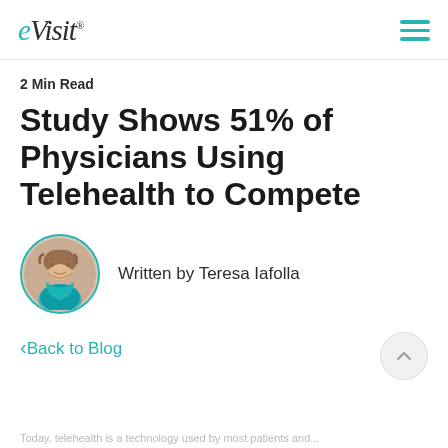eVisit
2 Min Read
Study Shows 51% of Physicians Using Telehealth to Compete
Written by Teresa Iafolla
< Back to Blog